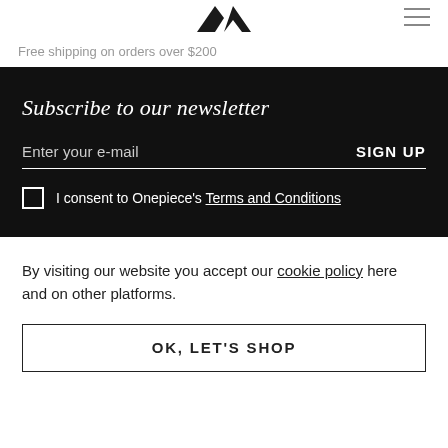[Figure (logo): Onepiece brand logo — stylized K/arrow mark in black]
Free shipping on orders over $200
Subscribe to our newsletter
Enter your e-mail
SIGN UP
I consent to Onepiece's Terms and Conditions
By visiting our website you accept our cookie policy here and on other platforms.
OK, LET'S SHOP